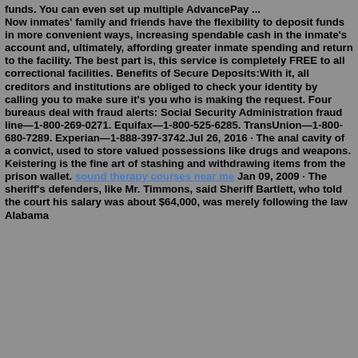funds. You can even set up multiple AdvancePay ... Now inmates' family and friends have the flexibility to deposit funds in more convenient ways, increasing spendable cash in the inmate's account and, ultimately, affording greater inmate spending and return to the facility. The best part is, this service is completely FREE to all correctional facilities. Benefits of Secure Deposits:With it, all creditors and institutions are obliged to check your identity by calling you to make sure it's you who is making the request. Four bureaus deal with fraud alerts: Social Security Administration fraud line—1-800-269-0271. Equifax—1-800-525-6285. TransUnion—1-800-680-7289. Experian—1-888-397-3742.Jul 26, 2016 · The anal cavity of a convict, used to store valued possessions like drugs and weapons. Keistering is the fine art of stashing and withdrawing items from the prison wallet. sound therapy courses near me Jan 09, 2009 · The sheriff's defenders, like Mr. Timmons, said Sheriff Bartlett, who told the court his salary was about $64,000, was merely following the law Alabama